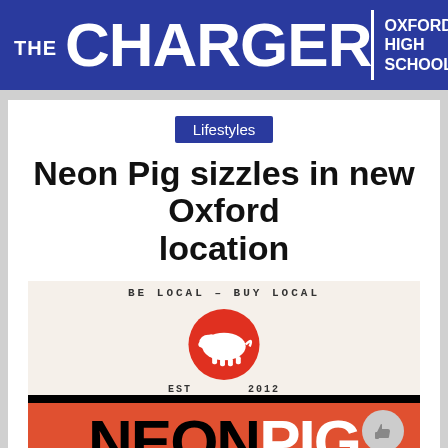THE CHARGER — OXFORD HIGH SCHOOL
Lifestyles
Neon Pig sizzles in new Oxford location
[Figure (logo): Neon Pig restaurant logo with text 'BE LOCAL - BUY LOCAL', a white pig silhouette inside a red circle, 'EST 2012' below the circle, and large 'NEON PIG' text in black and white on a red-orange background at the bottom.]